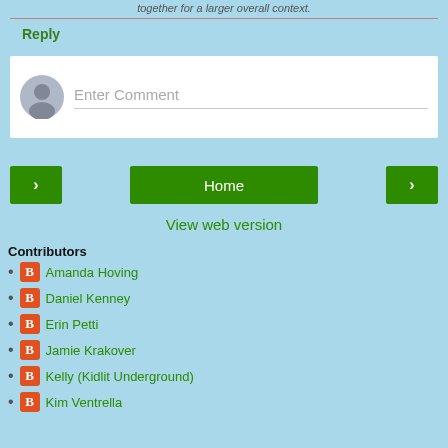together for a larger overall context.
Reply
[Figure (screenshot): Comment entry box with avatar icon and 'Enter Comment' placeholder text]
< Home >
View web version
Contributors
Amanda Hoving
Daniel Kenney
Erin Petti
Jamie Krakover
Kelly (Kidlit Underground)
Kim Ventrella